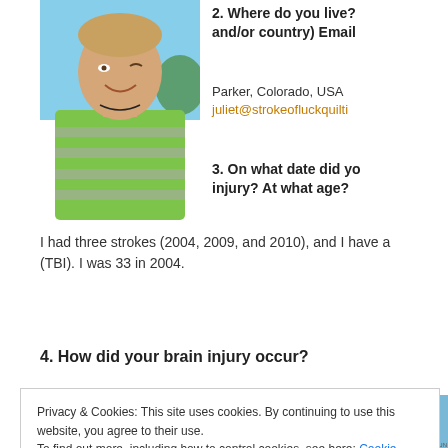[Figure (photo): Woman smiling outdoors, wearing a green and grey striped top, blue sky background]
2. Where do you live? and/or country) Email
Parker, Colorado, USA
juliet@strokeofluckquilti
3. On what date did your injury? At what age?
I had three strokes (2004, 2009, and 2010), and I have a (TBI). I was 33 in 2004.
4. How did your brain injury occur?
Privacy & Cookies: This site uses cookies. By continuing to use this website, you agree to their use.
To find out more, including how to control cookies, see here: Cookie Policy